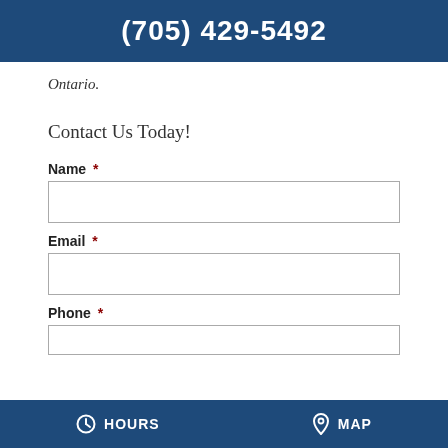(705) 429-5492
Ontario.
Contact Us Today!
Name *
Email *
Phone *
HOURS   MAP